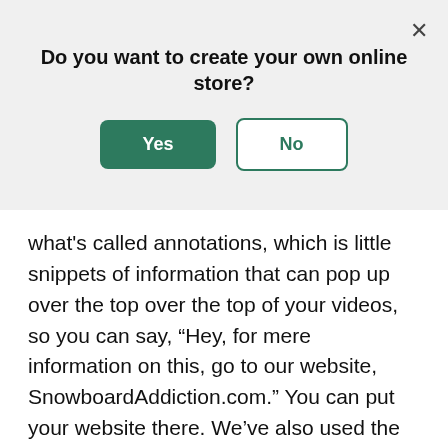Do you want to create your own online store?
[Figure (other): Dialog box with Yes (green filled button) and No (green outlined button) options, and an X close button in the top right corner]
what's called annotations, which is little snippets of information that can pop up over the top over the top of your videos, so you can say, “Hey, for mere information on this, go to our website, SnowboardAddiction.com.” You can put your website there. We’ve also used the strategy that a lot of people will use on YouTube, at the end of the video you put up a little video that says, "Hey, subscribe to our channel and you can find out a lot more at SnowboardAddiction.com, which is our